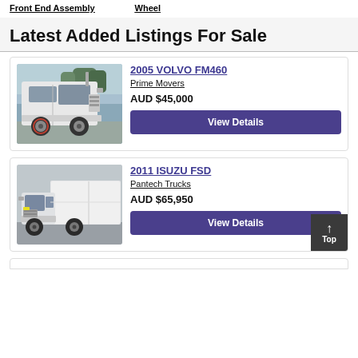Front End Assembly  Wheel
Latest Added Listings For Sale
[Figure (photo): White 2005 Volvo FM460 prime mover truck, side view, parked outdoors]
2005 VOLVO FM460
Prime Movers
AUD $45,000
View Details
[Figure (photo): White 2011 Isuzu FSD pantech truck, side/front view, parked near building]
2011 ISUZU FSD
Pantech Trucks
AUD $65,950
View Details